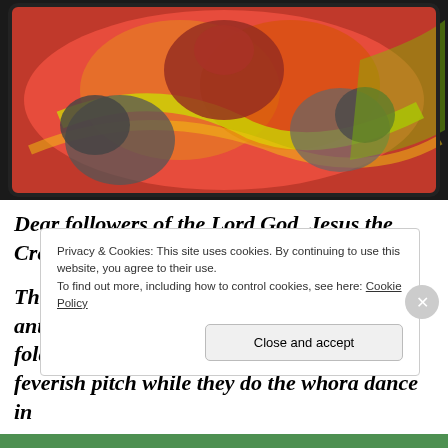[Figure (illustration): Colorful illustration with red, orange, yellow and green tones showing robed figures, appears to be a religious or artistic painting.]
Dear followers of the Lord God, Jesus the Creator,
The drum beat of Satan's Talmudic Hasidic anti-Christ minions and their proselyte two fold children of hell is now beating in a feverish pitch while they do the whora dance in
Privacy & Cookies: This site uses cookies. By continuing to use this website, you agree to their use.
To find out more, including how to control cookies, see here: Cookie Policy
Close and accept